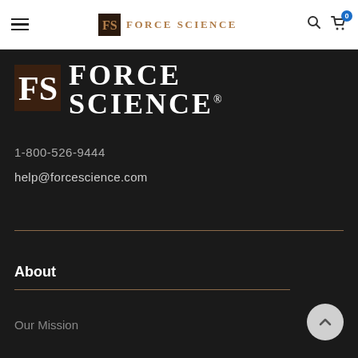Force Science navigation bar with hamburger menu, Force Science logo, search icon, and cart with 0 items
[Figure (logo): Force Science large white logo on dark background with FS monogram icon and FORCE SCIENCE text with registered trademark symbol]
1-800-526-9444
help@forcescience.com
About
Our Mission